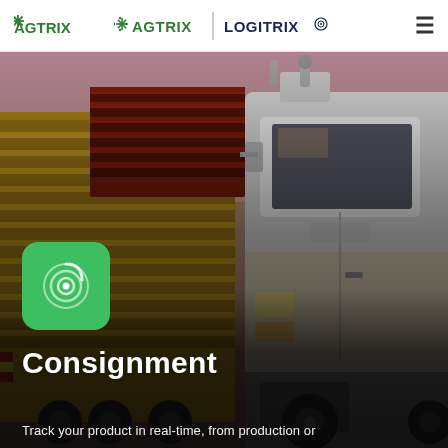AGTRIX | LOGITRIX
[Figure (photo): Hero photo of a large yellow livestock transport truck and trailer at dusk/sunset with pinkish-purple sky, viewed from low angle showing the cab and side of the trailer.]
[Figure (logo): Green rounded square icon with a circular radar/target symbol inside, representing the Logitrix consignment tracking app icon.]
Consignment
Track your product in real-time, from production or